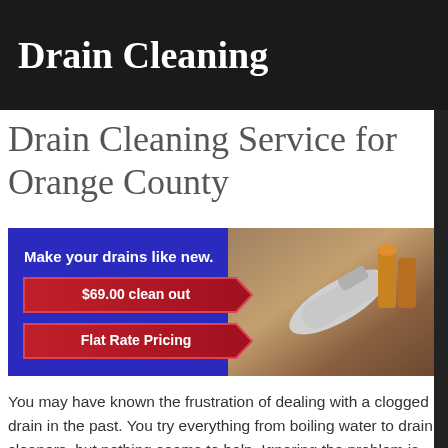Drain Cleaning
Drain Cleaning Service for Orange County
[Figure (infographic): Promotional banner with blue/purple gradient background and plumbing tools photo on the right. Text reads: 'Make your drains like new.' with two red arrow-shaped buttons: '$69.00 clean out' and 'Flat Rate Pricing']
You may have known the frustration of dealing with a clogged drain in the past.  You try everything from boiling water to drain cleaners, but nothing seems to help.  Ignoring the problem is out of the question – one major plumbing disaster would produce countless repair bills and turn into a financial catastrophe.  You want to hire a professional